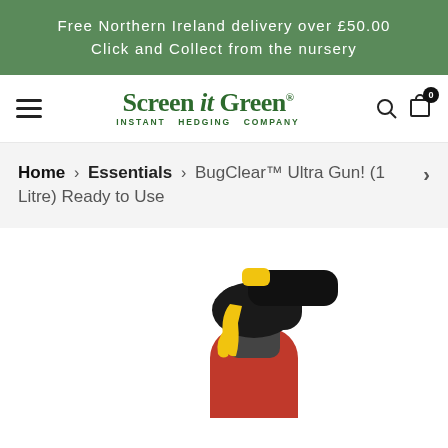Free Northern Ireland delivery over £50.00
Click and Collect from the nursery
[Figure (logo): Screen it Green Instant Hedging Company logo with green text and leaf icon]
Home > Essentials > BugClear™ Ultra Gun! (1 Litre) Ready to Use
[Figure (photo): BugClear Ultra Gun spray bottle with red body, black trigger mechanism and yellow nozzle]